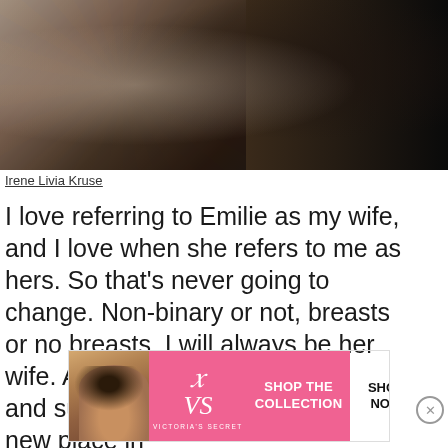[Figure (photo): Photo of two people, one wearing a floral dress/outfit on the left and one in dark clothing on the right, partially cropped]
Irene Livia Kruse
I love referring to Emilie as my wife, and I love when she refers to me as hers. So that’s never going to change. Non-binary or not, breasts or no breasts, I will always be her wife. And I love it. And she loves and supports me as I try to find my new place in
[Figure (advertisement): Victoria's Secret advertisement banner with pink background, model photo, VS logo, 'SHOP THE COLLECTION' text, and 'SHOP NOW' button]